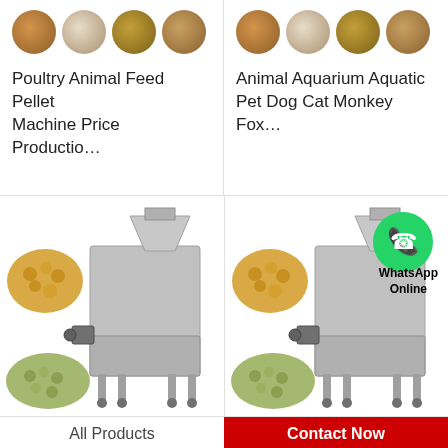[Figure (photo): Four circular images of animal feed pellets in various colors and shapes]
Poultry Animal Feed Pellet Machine Price Productio…
[Figure (photo): Four circular images of animal feed pellets in various colors and shapes]
Animal Aquarium Aquatic Pet Dog Cat Monkey Fox…
[Figure (photo): Industrial animal feed pellet machine with pellets on either side]
[Figure (photo): Industrial animal feed pellet machine with pellets on either side and WhatsApp Online badge]
All Products
Contact Now